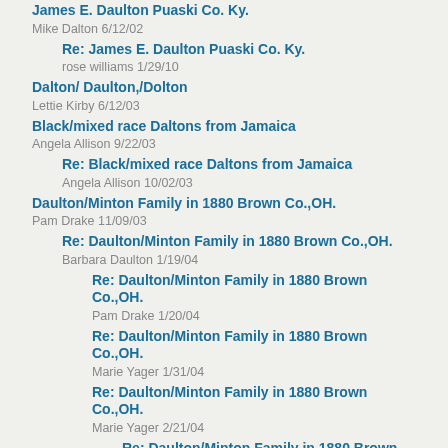James E. Daulton Puaski Co. Ky.
Mike Dalton 6/12/02
Re: James E. Daulton Puaski Co. Ky.
rose williams 1/29/10
Dalton/ Daulton,/Dolton
Lettie Kirby 6/12/03
Black/mixed race Daltons from Jamaica
Angela Allison 9/22/03
Re: Black/mixed race Daltons from Jamaica
Angela Allison 10/02/03
Daulton/Minton Family in 1880 Brown Co.,OH.
Pam Drake 11/09/03
Re: Daulton/Minton Family in 1880 Brown Co.,OH.
Barbara Daulton 1/19/04
Re: Daulton/Minton Family in 1880 Brown Co.,OH.
Pam Drake 1/20/04
Re: Daulton/Minton Family in 1880 Brown Co.,OH.
Marie Yager 1/31/04
Re: Daulton/Minton Family in 1880 Brown Co.,OH.
Marie Yager 2/21/04
Re: Daulton/Minton Family in 1880 Brown Co.,OH.